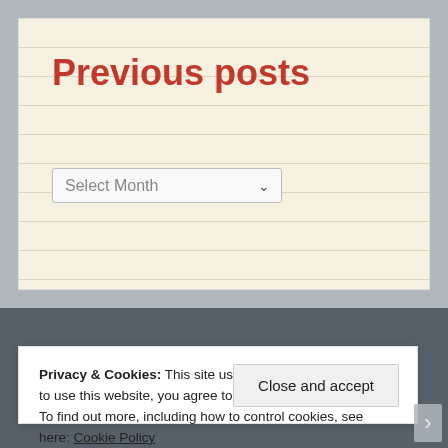Previous posts
Select Month
Search in our blog
Privacy & Cookies: This site uses cookies. By continuing to use this website, you agree to their use.
To find out more, including how to control cookies, see here: Cookie Policy
Close and accept